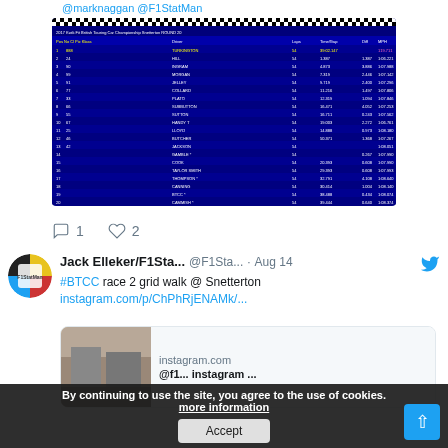@marknaggan @F1StatMan
[Figure (screenshot): Screenshot of a BTCC British Touring Car Championship race results table with dark blue background, showing position, car number, driver names, laps, lap times and gaps. Checkered flag header visible at top.]
1  2
Jack Elleker/F1Sta... @F1Sta... · Aug 14
#BTCC race 2 grid walk @ Snetterton instagram.com/p/ChPhRjENAMk/...
[Figure (screenshot): Instagram link preview card showing instagram.com domain with a photo of what appears to be a racing grid walk scene.]
By continuing to use the site, you agree to the use of cookies. more information
Accept